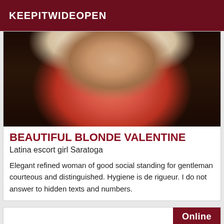KEEPITWIDEOPEN
[Figure (photo): Close-up photo of a woman with blonde hair wearing a red/coral bra, taken from above against a dark patterned background.]
BEAUTIFUL BLONDE VALENTINE
Latina escort girl Saratoga
Elegant refined woman of good social standing for gentleman courteous and distinguished. Hygiene is de rigueur. I do not answer to hidden texts and numbers.
Online